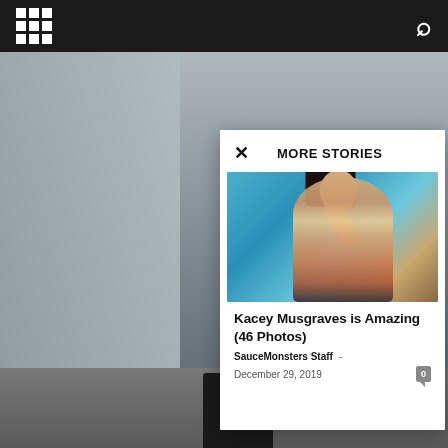MORE STORIES
[Figure (photo): Woman with long dark hair holding decorative sunglasses against a blue background — Kacey Musgraves promotional photo]
Kacey Musgraves is Amazing (46 Photos)
SauceMonsters Staff - December 29, 2019  0